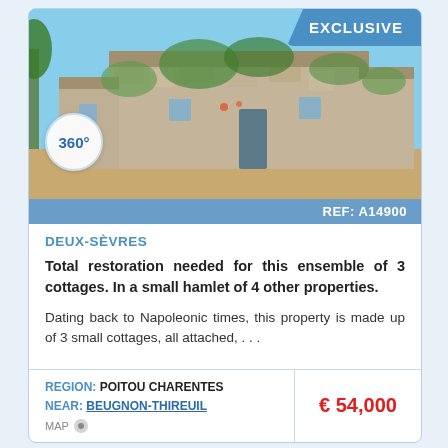[Figure (photo): Stone cottage with ivy/vine coverage, rustic French rural building, sunny sky, dirt courtyard, 360° tour badge overlay, EXCLUSIVE badge top-right]
REF: A14900
DEUX-SÈVRES
Total restoration needed for this ensemble of 3 cottages. In a small hamlet of 4 other properties.
Dating back to Napoleonic times, this property is made up of 3 small cottages, all attached, . . .
REGION: POITOU CHARENTES
NEAR: BEUGNON-THIREUIL
MAP
€ 54,000